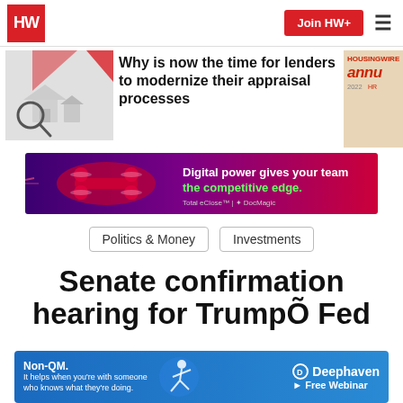HW | Join HW+
Why is now the time for lenders to modernize their appraisal processes
[Figure (photo): Article thumbnail showing house model and magnifying glass]
[Figure (photo): HousingWire Annual 2022 partial image]
[Figure (photo): Digital power advertisement banner with drone image - Total eClose / DocMagic]
Politics & Money
Investments
Senate confirmation hearing for TrumpÕ Fed
[Figure (photo): Non-QM advertisement - Deephaven Free Webinar]